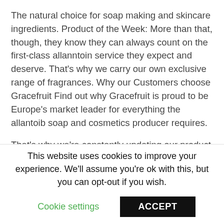The natural choice for soap making and skincare ingredients. Product of the Week: More than that, though, they know they can always count on the first-class allanntoin service they expect and deserve. That's why we carry our own exclusive range of fragrances. Why our Customers choose Gracefruit Find out why Gracefruit is proud to be Europe's market leader for everything the allantoib soap and cosmetics producer requires.
That's why we're constantly updating our product line to introduce the very latest cosmetic ingredients, unavailable anywhere else. They know...
This website uses cookies to improve your experience. We'll assume you're ok with this, but you can opt-out if you wish.